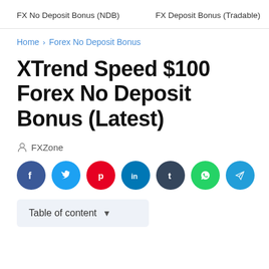FX No Deposit Bonus (NDB)    FX Deposit Bonus (Tradable)
Home > Forex No Deposit Bonus
XTrend Speed $100 Forex No Deposit Bonus (Latest)
FXZone
[Figure (infographic): Row of 7 social sharing buttons: Facebook (dark blue), Twitter (light blue), Pinterest (red), LinkedIn (dark blue), Tumblr (dark navy), WhatsApp (green), Telegram (light blue)]
Table of content